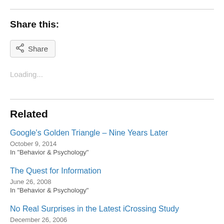Share this:
Share
Loading...
Related
Google's Golden Triangle – Nine Years Later
October 9, 2014
In "Behavior & Psychology"
The Quest for Information
June 26, 2008
In "Behavior & Psychology"
No Real Surprises in the Latest iCrossing Study
December 26, 2006